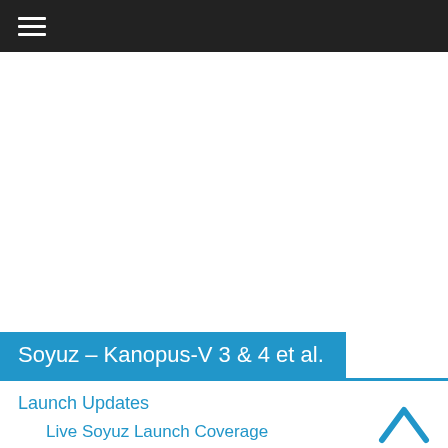≡
Soyuz – Kanopus-V 3 & 4 et al.
Launch Updates
Live Soyuz Launch Coverage